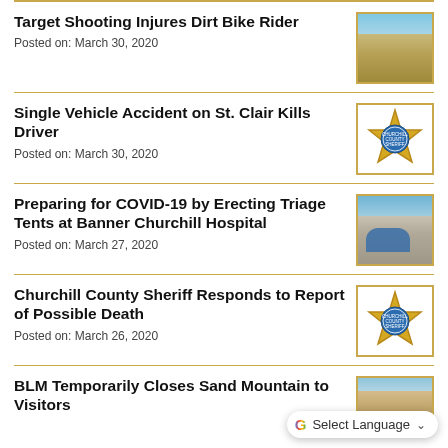Target Shooting Injures Dirt Bike Rider
Posted on: March 30, 2020
[Figure (photo): Desert landscape with blue sky and scrubland]
Single Vehicle Accident on St. Clair Kills Driver
Posted on: March 30, 2020
[Figure (photo): Churchill County Sheriff badge/seal]
Preparing for COVID-19 by Erecting Triage Tents at Banner Churchill Hospital
Posted on: March 27, 2020
[Figure (photo): Triage tent structure at hospital outdoor area]
Churchill County Sheriff Responds to Report of Possible Death
Posted on: March 26, 2020
[Figure (photo): Churchill County Sheriff badge/seal]
BLM Temporarily Closes Sand Mountain to Visitors
[Figure (photo): Sand dune landscape photo (partially visible)]